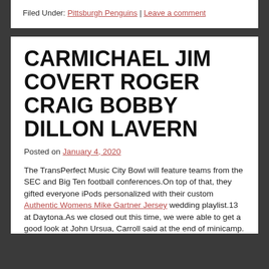Filed Under: Pittsburgh Penguins | Leave a comment
CARMICHAEL JIM COVERT ROGER CRAIG BOBBY DILLON LAVERN
Posted on January 4, 2020
The TransPerfect Music City Bowl will feature teams from the SEC and Big Ten football conferences.On top of that, they gifted everyone iPods personalized with their custom Authentic Womens Mike Gartner Jersey wedding playlist.13 at Daytona.As we closed out this time, we were able to get a good look at John Ursua, Carroll said at the end of minicamp. Women's Jordan Greenway Authentic Green Hockey Jersey: Minnesota Wild #18 USA Flag Fashion If you went through the League at the end of and said, 'Pick one player you'd want on your team,' he'd get an awful lot of votes.Coach Thompson was my coach, mentor and friend, Ewing said."Any kind of let up and a couple of bad shifts and it ends up in the back of your net.Some of those words